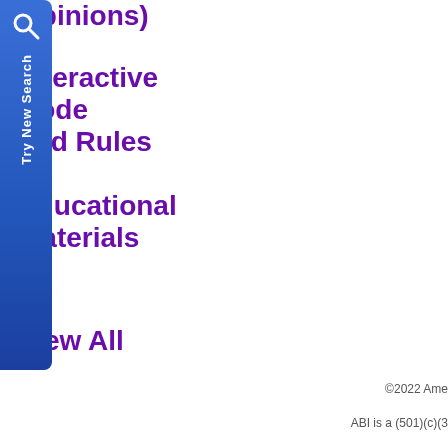Opinions)
Interactive Code and Rules
Educational Materials
View All
Bankruptcy Statistics
View All
[Figure (other): Blue vertical search tab button with magnifying glass icon and 'Try New Search' text rotated vertically]
©2022 Ame
ABI is a (501)(c)(3